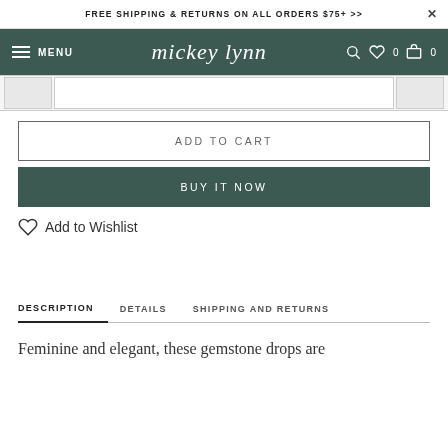FREE SHIPPING & RETURNS ON ALL ORDERS $75+ >>
MENU  mickey lynn  0  0
[Figure (screenshot): Product image thumbnail strip with left and right thumbnail images and main center area]
ADD TO CART
BUY IT NOW
Add to Wishlist
DESCRIPTION  DETAILS  SHIPPING AND RETURNS
Feminine and elegant, these gemstone drops are